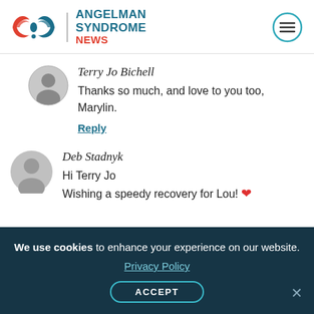Angelman Syndrome News
Terry Jo Bichell
Thanks so much, and love to you too, Marylin.
Reply
Deb Stadnyk
Hi Terry Jo
Wishing a speedy recovery for Lou! ❤
We use cookies to enhance your experience on our website. Privacy Policy ACCEPT